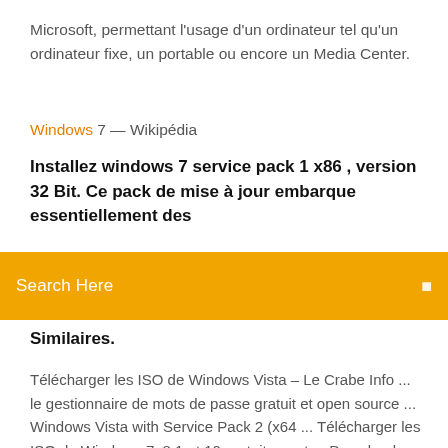Microsoft, permettant l'usage d'un ordinateur tel qu'un ordinateur fixe, un portable ou encore un Media Center.
Windows 7 — Wikipédia
Installez windows 7 service pack 1 x86 , version 32 Bit. Ce pack de mise à jour embarque essentiellement des
[Figure (other): Orange search bar with text 'Search Here' and a search icon on the right]
Similaires.
Télécharger les ISO de Windows Vista – Le Crabe Info ... le gestionnaire de mots de passe gratuit et open source ... Windows Vista with Service Pack 2 (x64 ... Télécharger les ISO de Windows 7, 8.1 et 10 gratuitement ... Download Windows Vista Service Pack 1 Five Language ... Windows Vista Service Pack 1 is an update to Windows Vista that addresses key feedback from our customers. SP1 addresses specific reliability and ... Télécharger Windows Vista (Toutes ... - Downflex.com